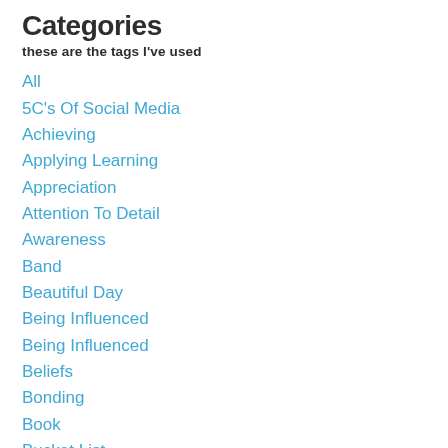Categories
these are the tags I've used
All
5C's Of Social Media
Achieving
Applying Learning
Appreciation
Attention To Detail
Awareness
Band
Beautiful Day
Being Influenced
Being Influenced
Beliefs
Bonding
Book
Bucket List
Caring
Climate For Change
Cocreation
Co-Creativity